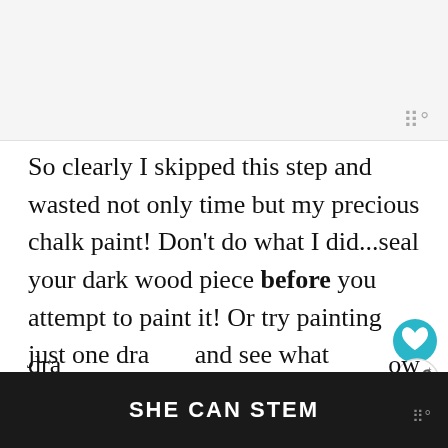[Figure (screenshot): App UI top strip with gray background and app logo watermark (three vertical bars with degree symbol) in gray at top right]
So clearly I skipped this step and wasted not only time but my precious chalk paint! Don't do what I did...seal your dark wood piece before you attempt to paint it! Or try painting just one draw and see what happens before painting the entire thing.
Let's take a little look at what happened on the
SHE CAN STEM